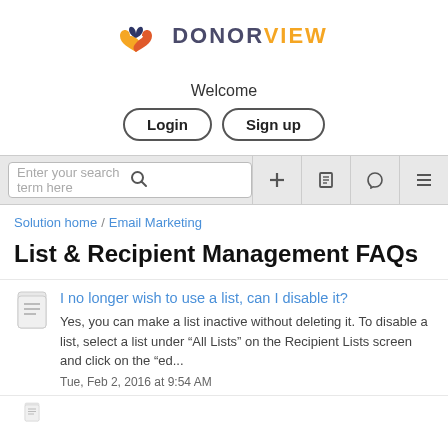[Figure (logo): DonorView logo with orange and blue heart icon and text DONORVIEW in dark blue/orange colors]
Welcome
Login   Sign up
Enter your search term here
Solution home / Email Marketing
List & Recipient Management FAQs
I no longer wish to use a list, can I disable it?
Yes, you can make a list inactive without deleting it. To disable a list, select a list under “All Lists” on the Recipient Lists screen and click on the “ed...
Tue, Feb 2, 2016 at 9:54 AM